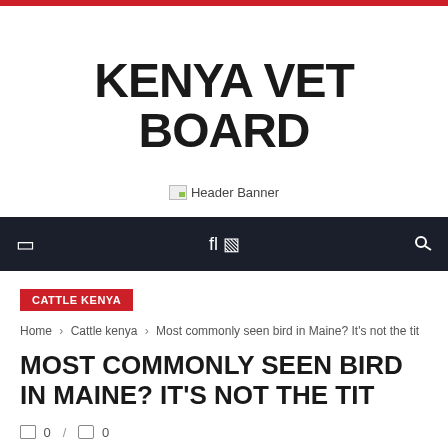KENYA VET BOARD
[Figure (other): Header Banner placeholder image]
[Figure (other): Navigation bar with hamburger menu icon on left and search icon on right, dark background]
CATTLE KENYA
Home › Cattle kenya › Most commonly seen bird in Maine? It's not the tit
MOST COMMONLY SEEN BIRD IN MAINE? IT'S NOT THE TIT
0 / 0